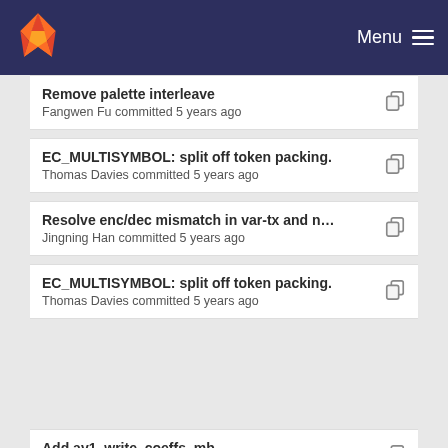GitLab — Menu
Remove palette interleave
Fangwen Fu committed 5 years ago
EC_MULTISYMBOL: split off token packing.
Thomas Davies committed 5 years ago
Resolve enc/dec mismatch in var-tx and new-toke…
Jingning Han committed 5 years ago
EC_MULTISYMBOL: split off token packing.
Thomas Davies committed 5 years ago
Add av1_write_coeffs_mb
Angie Chiang committed 5 years ago
Refactor PVQ tokens packing code as a function
Yushin Cho committed 5 years ago
Support level map coeffs in var-tx encoding